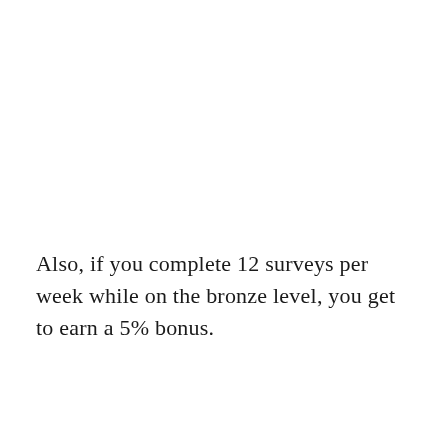Also, if you complete 12 surveys per week while on the bronze level, you get to earn a 5% bonus.